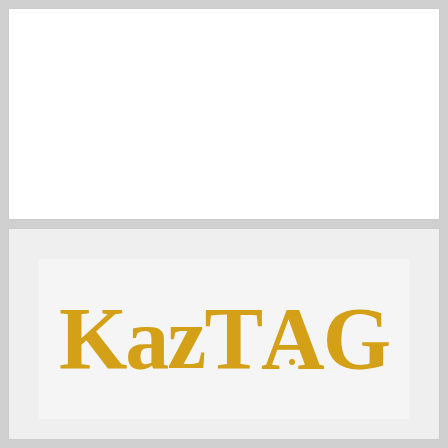[Figure (logo): White rectangular panel (top half of page)]
[Figure (logo): KazTAG logo in gold/yellow serif bold font on light gray background]